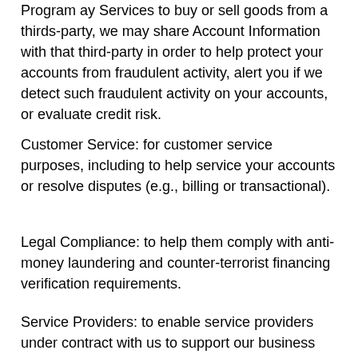Program ay Services to buy or sell goods from a thirds-party, we may share Account Information with that third-party in order to help protect your accounts from fraudulent activity, alert you if we detect such fraudulent activity on your accounts, or evaluate credit risk.
Customer Service: for customer service purposes, including to help service your accounts or resolve disputes (e.g., billing or transactional).
Legal Compliance: to help them comply with anti-money laundering and counter-terrorist financing verification requirements.
Service Providers: to enable service providers under contract with us to support our business operations, such as fraud prevention, bill collection, marketing, customer service and technology services.